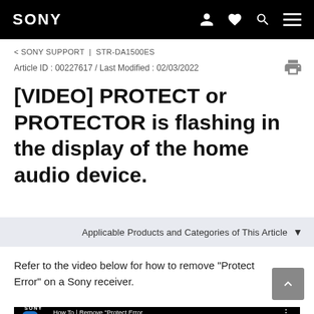SONY
< SONY SUPPORT | STR-DA1500ES
Article ID : 00227617 / Last Modified : 02/03/2022
[VIDEO] PROTECT or PROTECTOR is flashing in the display of the home audio device.
Applicable Products and Categories of This Article
Refer to the video below for how to remove "Protect Error" on a Sony receiver.
[Figure (screenshot): YouTube video thumbnail showing Sony Support channel with title 'How To | Remove "Protect Error...']